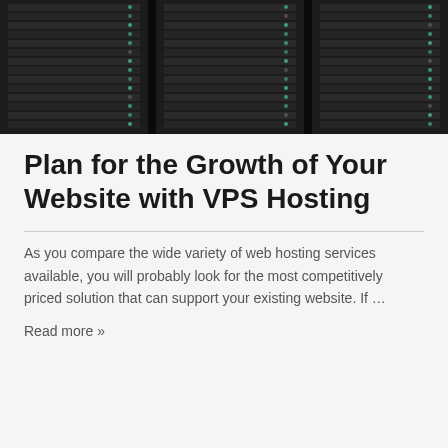[Figure (photo): Photo of server racks in a data center — rows of dark 1U rack-mounted servers with blinking lights and cable management panels]
Plan for the Growth of Your Website with VPS Hosting
As you compare the wide variety of web hosting services available, you will probably look for the most competitively priced solution that can support your existing website. If …
Read more »